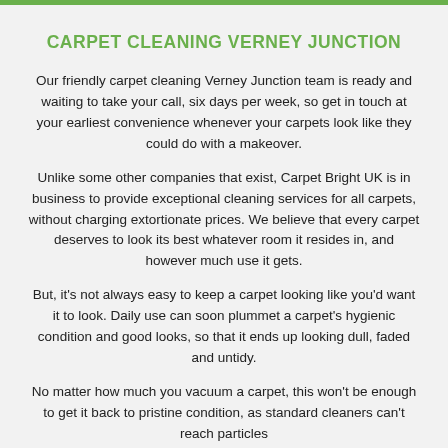CARPET CLEANING VERNEY JUNCTION
Our friendly carpet cleaning Verney Junction team is ready and waiting to take your call, six days per week, so get in touch at your earliest convenience whenever your carpets look like they could do with a makeover.
Unlike some other companies that exist, Carpet Bright UK is in business to provide exceptional cleaning services for all carpets, without charging extortionate prices. We believe that every carpet deserves to look its best whatever room it resides in, and however much use it gets.
But, it's not always easy to keep a carpet looking like you'd want it to look. Daily use can soon plummet a carpet's hygienic condition and good looks, so that it ends up looking dull, faded and untidy.
No matter how much you vacuum a carpet, this won't be enough to get it back to pristine condition, as standard cleaners can't reach particles